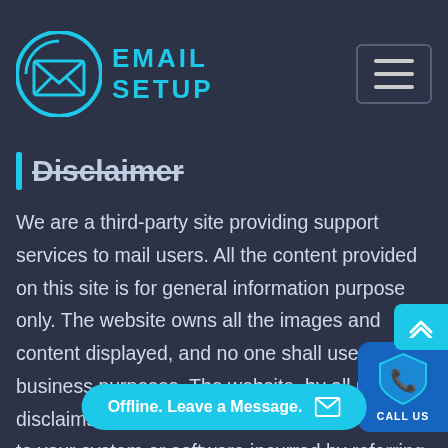[Figure (logo): Email Setup logo with cyan circle containing an envelope icon, and text EMAIL SETUP in cyan]
Disclaimer
We are a third-party site providing support services to mail users. All the content provided on this site is for general information purpose only. The website owns all the images and content displayed, and no one shall use it for business purposes. The website, by all means, disclaims the liability for any damages caused to your system or software incurred by referring to the content on this site. The website reserves all rights to change or update the content/i... without prior notice to th...